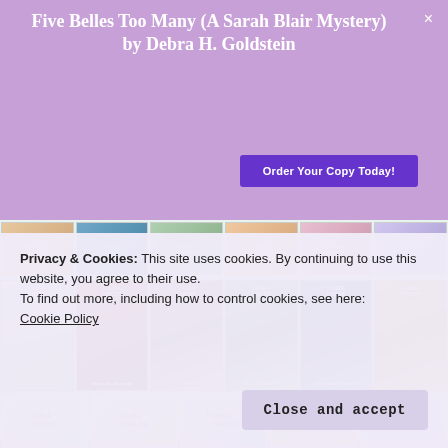Five Belles Too Many (A Sarah Blair Mystery) by Debra H. Goldstein
[Figure (other): Purple button reading 'Order Your Copy Today!']
[Figure (other): Grid of book covers for Laura Childs tea shop mystery series including titles: Agony of the Leaves, Sweet Tea Revenge, Steeped in Evil, Ming Tea Murder, Devonshire Scream, Pekoe Most Poison, and smaller header row books, plus bottom row of Laura Childs logo books]
Privacy & Cookies: This site uses cookies. By continuing to use this website, you agree to their use.
To find out more, including how to control cookies, see here:
Cookie Policy
Close and accept